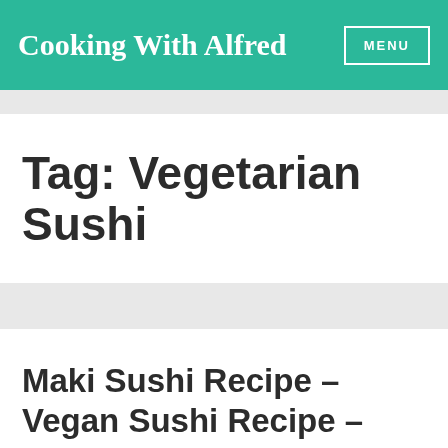Cooking With Alfred  MENU
Tag: Vegetarian Sushi
Maki Sushi Recipe – Vegan Sushi Recipe – How To Make Vegetarian Maki